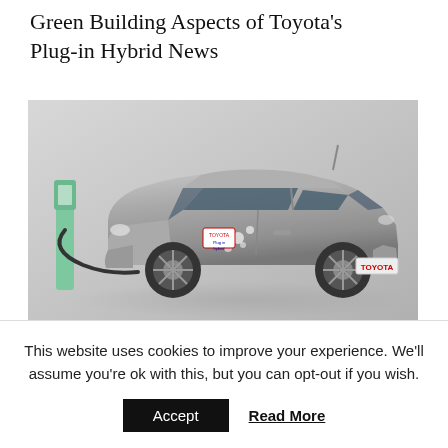Green Building Aspects of Toyota's Plug-in Hybrid News
[Figure (photo): Toyota Plug-in Hybrid car (silver/grey Prius) plugged into a charging station on a grey background, with floral decals and Toyota branding on the rear]
You might be thinking "Why is this green building blog talking about a
This website uses cookies to improve your experience. We'll assume you're ok with this, but you can opt-out if you wish.
Accept
Read More